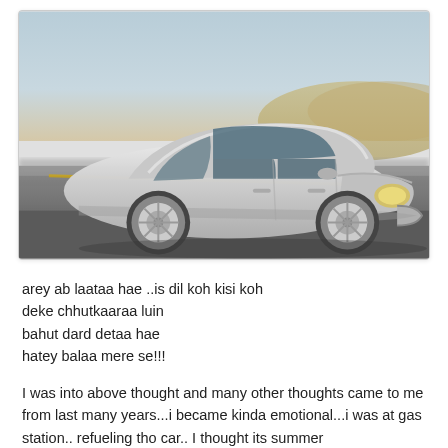[Figure (photo): A silver sedan car (appears to be a Mitsubishi Galant) driving on a desert road, photographed at speed with motion blur on the background. The car is silver/grey, viewed from a front three-quarter angle.]
arey ab laataa hae ..is dil koh kisi koh
deke chhutkaaraa luin
bahut dard detaa hae
hatey balaa mere se!!!
I was into above thought and many other thoughts came to me from last many years...i became kinda emotional...i was at gas station.. refueling tho car.. I thought its summer